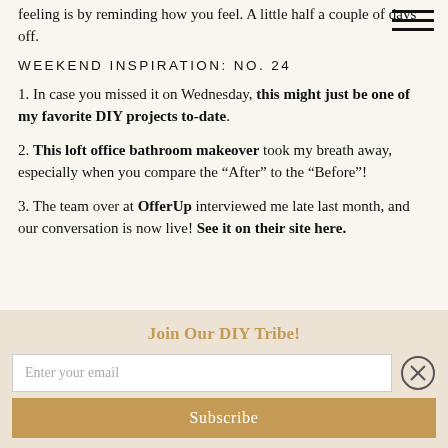feeling is by reminding how you feel. A little half a couple of days off.
WEEKEND INSPIRATION: NO. 24
1. In case you missed it on Wednesday, this might just be one of my favorite DIY projects to-date.
2. This loft office bathroom makeover took my breath away, especially when you compare the “After” to the “Before”!
3. The team over at OfferUp interviewed me late last month, and our conversation is now live! See it on their site here.
Join Our DIY Tribe!
Enter your email
Subscribe